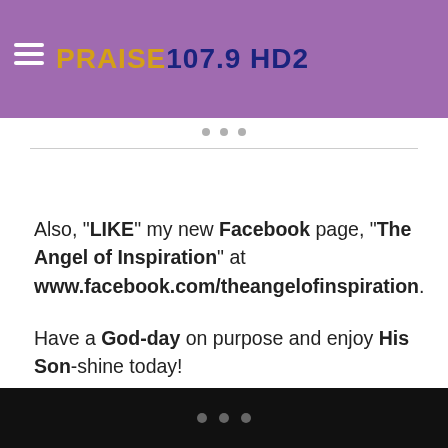PRAISE 107.9 HD2
Also, "LIKE" my new Facebook page, "The Angel of Inspiration" at www.facebook.com/theangelofinspiration.
Have a God-day on purpose and enjoy His Son-shine today!
Peace and Blessings,